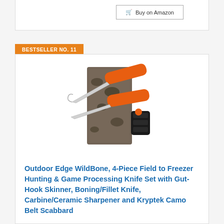Buy on Amazon
BESTSELLER NO. 11
[Figure (photo): Product photo of Outdoor Edge WildBone 4-Piece knife set showing two orange-handled knives, a blade sharpener, and camo belt scabbard packaging]
Outdoor Edge WildBone, 4-Piece Field to Freezer Hunting & Game Processing Knife Set with Gut-Hook Skinner, Boning/Fillet Knife, Carbine/Ceramic Sharpener and Kryptek Camo Belt Scabbard